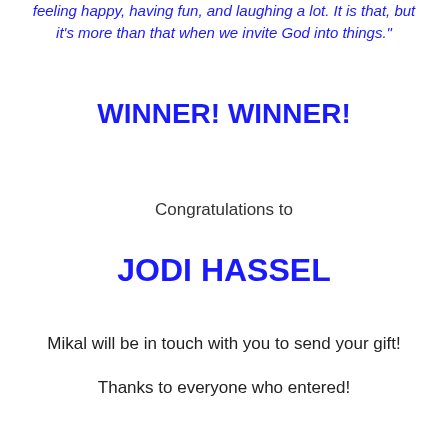feeling happy, having fun, and laughing a lot. It is that, but it's more than that when we invite God into things."
WINNER! WINNER!
Congratulations to
JODI HASSEL
Mikal will be in touch with you to send your gift!
Thanks to everyone who entered!